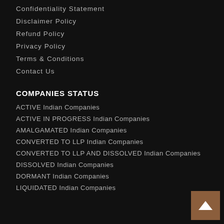Confidentiality Statement
Disclaimer Policy
Refund Policy
Privacy Policy
Terms & Conditions
Contact Us
COMPANIES STATUS
ACTIVE Indian Companies
ACTIVE IN PROGRESS Indian Companies
AMALGAMATED Indian Companies
CONVERTED TO LLP Indian Companies
CONVERTED TO LLP AND DISSOLVED Indian Companies
DISSOLVED Indian Companies
DORMANT Indian Companies
LIQUIDATED Indian Companies